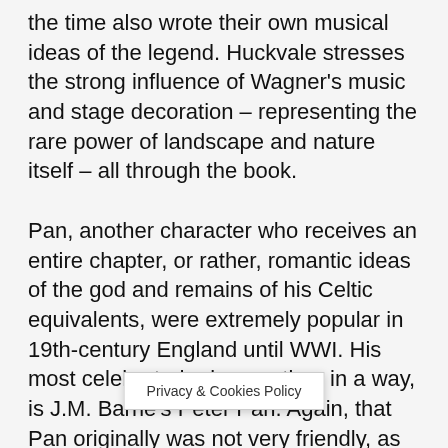the time also wrote their own musical ideas of the legend. Huckvale stresses the strong influence of Wagner's music and stage decoration – representing the rare power of landscape and nature itself – all through the book.
Pan, another character who receives an entire chapter, or rather, romantic ideas of the god and remains of his Celtic equivalents, were extremely popular in 19th-century England until WWI. His most celebrated reincarnation, in a way, is J.M. Barrie's Peter Pan. Again, that Pan originally was not very friendly, as he, a baby himself, set out to steal other babies from their perambulators. (In Kensington Gardens, a place where once a wild b... man
Privacy & Cookies Policy